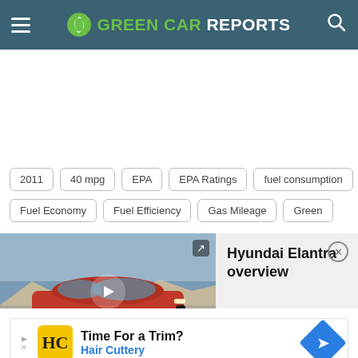GREEN CAR REPORTS
[Figure (screenshot): Advertisement placeholder area (blank white space)]
2011
40 mpg
EPA
EPA Ratings
fuel consumption
Fuel Economy
Fuel Efficiency
Gas Mileage
Green
[Figure (photo): Video thumbnail of a red Hyundai Elantra sedan driving on a road with a play button overlay. Caption reads: Hyundai Elantra]
Hyundai Elantra overview
[Figure (infographic): Advertisement for Hair Cuttery: Time For a Trim? Hair Cuttery, with HC logo in yellow box and blue diamond arrow icon]